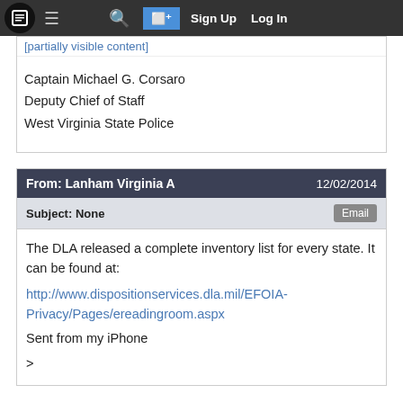Sign Up  Log In
Captain Michael G. Corsaro
Deputy Chief of Staff
West Virginia State Police
From: Lanham Virginia A  12/02/2014
Subject: None  Email
The DLA released a complete inventory list for every state. It can be found at:

http://www.dispositionservices.dla.mil/EFOIA-Privacy/Pages/ereadingroom.aspx
Sent from my iPhone

>